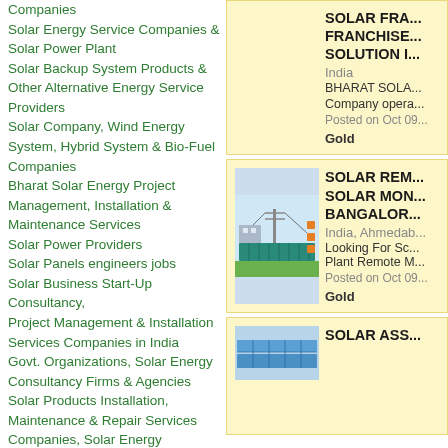Companies
Solar Energy Service Companies & Solar Power Plant
Solar Backup System Products & Other Alternative Energy Service Providers
Solar Company, Wind Energy System, Hybrid System & Bio-Fuel Companies
Bharat Solar Energy Project Management, Installation & Maintenance Services
Solar Power Providers
Solar Panels engineers jobs
Solar Business Start-Up Consultancy, Project Management & Installation Services Companies in India
Govt. Organizations, Solar Energy Consultancy Firms & Agencies
Solar Products Installation, Maintenance & Repair Services Companies, Solar Energy Engineers & Technicians
[Figure (screenshot): Listing card 1: SOLAR FRA... FRANCHISE... SOLUTION I... India, BHARAT SOLA..., Company opera..., Posted on Oct 09, Gold badge]
[Figure (screenshot): Listing card 2: SOLAR REM... SOLAR MON... BANGALOR..., India, Ahmedab..., Looking For Sc... Plant Remote M..., Posted on Oct 09, Gold badge, with solar system diagram thumbnail]
[Figure (screenshot): Listing card 3: SOLAR ASS... (partial), with blue solar panel thumbnail]